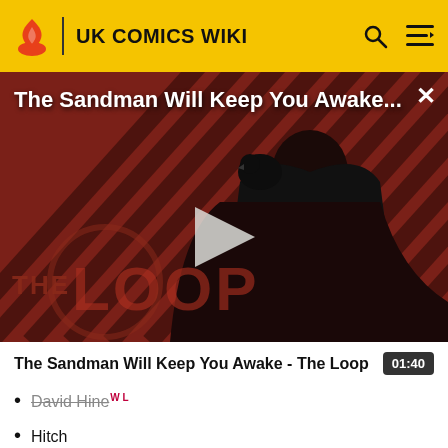UK COMICS WIKI
[Figure (screenshot): Video thumbnail for 'The Sandman Will Keep You Awake - The Loop' showing a dark figure in a black cloak against a red and black striped background with THE LOOP logo visible. A play button is overlaid in the center. Duration shown as 01:40.]
The Sandman Will Keep You Awake - The Loop
David Hine
Hitch
Bryan Hitch WL
David Hitchcock WL